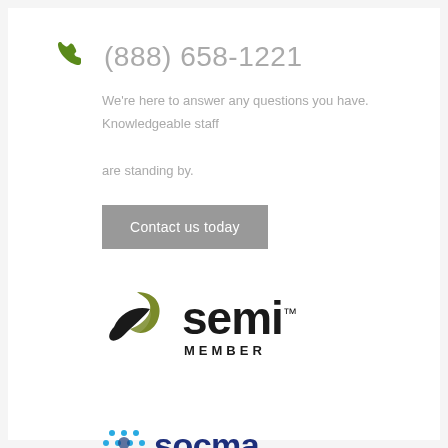(888) 658-1221
We're here to answer any questions you have. Knowledgeable staff are standing by.
Contact us today
[Figure (logo): SEMI Member logo with olive green swoosh/leaf shape and black SEMI text with trademark symbol and MEMBER text below]
[Figure (logo): SOCMA Member Company logo with teal/blue dot pattern and dark blue SOCMA text with green MEMBER COMPANY text below]